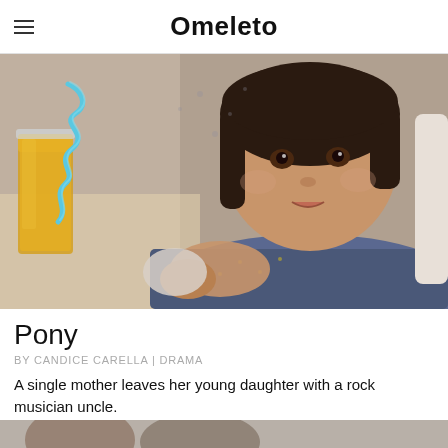Omeleto
[Figure (photo): A young girl with short dark hair sitting at a table, looking at the camera. There is a glass of orange juice with a curly blue straw in the foreground. The girl is wearing a floral patterned shirt.]
Pony
BY CANDICE CARELLA | DRAMA
A single mother leaves her young daughter with a rock musician uncle.
[Figure (photo): Partial view of another image at the bottom of the page, cropped.]